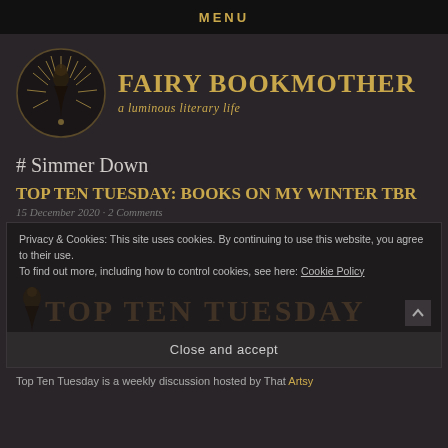MENU
[Figure (logo): Fairy Bookmother logo — circular emblem with fairy figure and starburst, text: FAIRY BOOKMOTHER a luminous literary life]
# Simmer Down
TOP TEN TUESDAY: BOOKS ON MY WINTER TBR
15 December 2020 · 2 Comments
Privacy & Cookies: This site uses cookies. By continuing to use this website, you agree to their use.
To find out more, including how to control cookies, see here: Cookie Policy
Close and accept
Top Ten Tuesday is a weekly discussion hosted by That Artsy